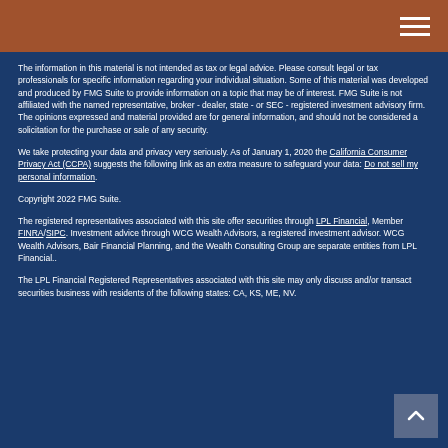Navigation header with hamburger menu
The information in this material is not intended as tax or legal advice. Please consult legal or tax professionals for specific information regarding your individual situation. Some of this material was developed and produced by FMG Suite to provide information on a topic that may be of interest. FMG Suite is not affiliated with the named representative, broker - dealer, state - or SEC - registered investment advisory firm. The opinions expressed and material provided are for general information, and should not be considered a solicitation for the purchase or sale of any security.
We take protecting your data and privacy very seriously. As of January 1, 2020 the California Consumer Privacy Act (CCPA) suggests the following link as an extra measure to safeguard your data: Do not sell my personal information.
Copyright 2022 FMG Suite.
The registered representatives associated with this site offer securities through LPL Financial, Member FINRA/SIPC. Investment advice through WCG Wealth Advisors, a registered investment advisor. WCG Wealth Advisors, Bair Financial Planning, and the Wealth Consulting Group are separate entities from LPL Financial..
The LPL Financial Registered Representatives associated with this site may only discuss and/or transact securities business with residents of the following states: CA, KS, ME, NV.